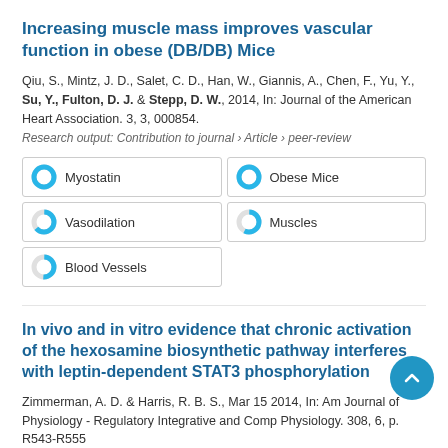Increasing muscle mass improves vascular function in obese (DB/DB) Mice
Qiu, S., Mintz, J. D., Salet, C. D., Han, W., Giannis, A., Chen, F., Yu, Y., Su, Y., Fulton, D. J. & Stepp, D. W., 2014, In: Journal of the American Heart Association. 3, 3, 000854.
Research output: Contribution to journal › Article › peer-review
Myostatin
Obese Mice
Vasodilation
Muscles
Blood Vessels
In vivo and in vitro evidence that chronic activation of the hexosamine biosynthetic pathway interferes with leptin-dependent STAT3 phosphorylation
Zimmerman, A. D. & Harris, R. B. S., Mar 15 2014, In: American Journal of Physiology - Regulatory Integrative and Comparative Physiology. 308, 6, p. R543-R555
Research output: Contribution to journal › Article › peer-review